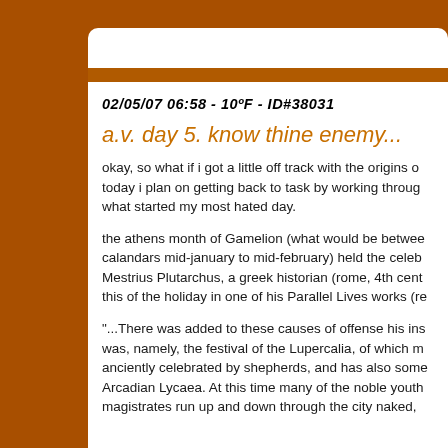02/05/07 06:58 - 10ºF - ID#38031
a.v. day 5. know thine enemy...
okay, so what if i got a little off track with the origins of today i plan on getting back to task by working through what started my most hated day.
the athens month of Gamelion (what would be between calandars mid-january to mid-february) held the celeb Mestrius Plutarchus, a greek historian (rome, 4th cent this of the holiday in one of his Parallel Lives works (re
"...There was added to these causes of offense his ins was, namely, the festival of the Lupercalia, of which m anciently celebrated by shepherds, and has also some Arcadian Lycaea. At this time many of the noble youth magistrates run up and down through the city naked,